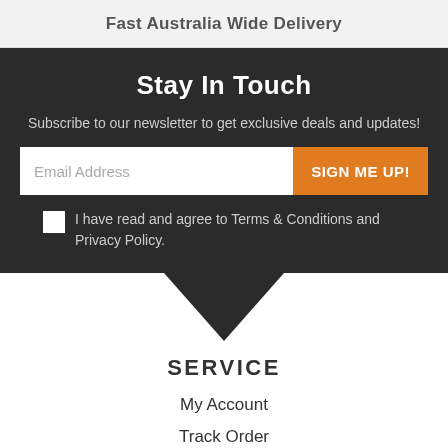Fast Australia Wide Delivery
Stay In Touch
Subscribe to our newsletter to get exclusive deals and updates!
Email Address
SIGN ME UP!
I have read and agree to Terms & Conditions and Privacy Policy.
SERVICE
My Account
Track Order
Resolution Centre